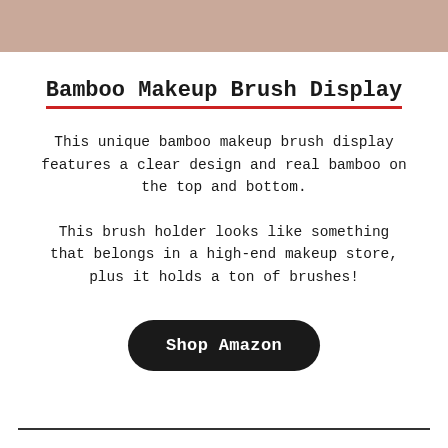[Figure (other): Beige/tan colored banner strip at top of page]
Bamboo Makeup Brush Display
This unique bamboo makeup brush display features a clear design and real bamboo on the top and bottom.
This brush holder looks like something that belongs in a high-end makeup store, plus it holds a ton of brushes!
Shop Amazon